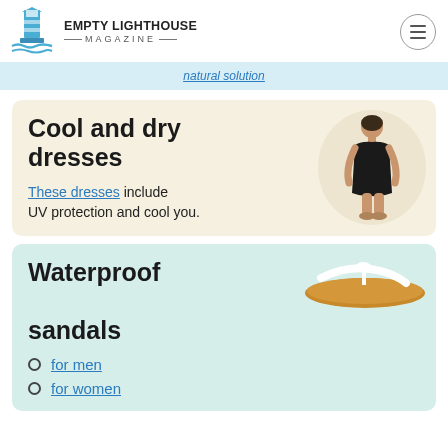EMPTY LIGHTHOUSE MAGAZINE
natural solution
Cool and dry dresses
[Figure (photo): Woman wearing a black sleeveless dress, shown in a circular frame]
These dresses include UV protection and cool you.
Waterproof sandals
[Figure (photo): White flip-flop sandal on tan sole]
for men
for women